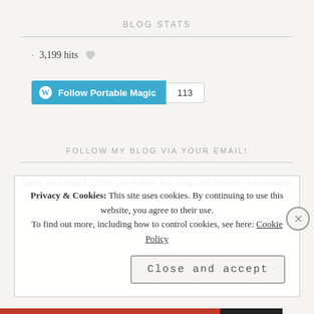BLOG STATS
3,199 hits
[Figure (other): WordPress Follow Portable Magic button (blue) with follower count badge showing 113]
FOLLOW MY BLOG VIA YOUR EMAIL!
Enter your email address to follow this blog and receive notifications of new posts by
Privacy & Cookies: This site uses cookies. By continuing to use this website, you agree to their use. To find out more, including how to control cookies, see here: Cookie Policy
Close and accept